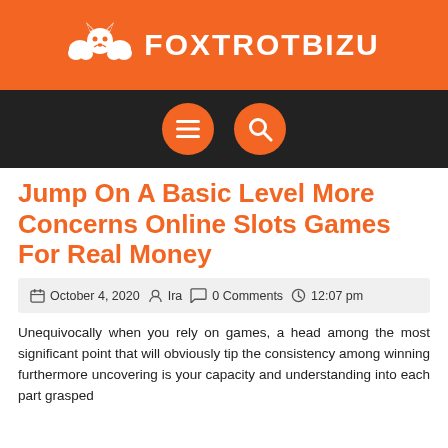FOXTROTBIZU
Jump On A Basic Level More Concerns Online Slots Games For Real Money
October 4, 2020  Ira  0 Comments  12:07 pm
Unequivocally when you rely on games, a head among the most significant point that will obviously tip the consistency among winning furthermore uncovering is your capacity and understanding into each part grasped